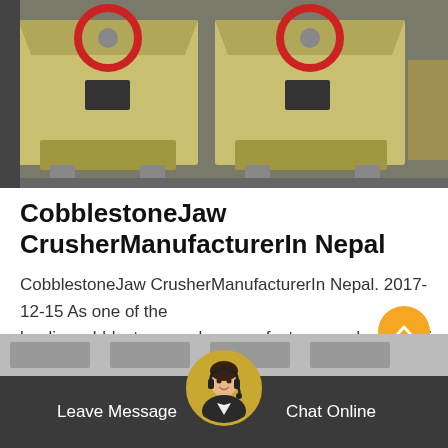[Figure (photo): Industrial jaw crusher machines in a warehouse setting, large yellow/beige machines with red circular flywheel visible on top]
CobblestoneJaw CrusherManufacturerIn Nepal
CobblestoneJaw CrusherManufacturerIn Nepal. 2017-12-15 As one of the leadingcobblestonecrushermanufacturersandsuppliersin China we warmly welcome you to wholesale…
Get Price
Leave Message  Chat Online